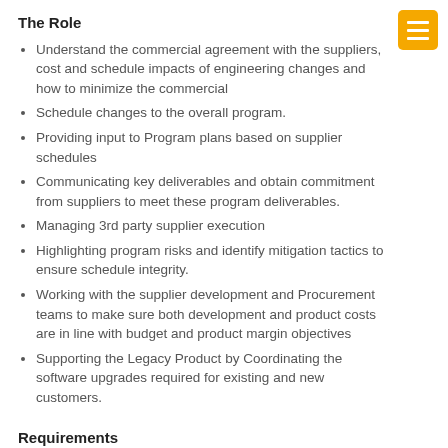The Role
Understand the commercial agreement with the suppliers, cost and schedule impacts of engineering changes and how to minimize the commercial
Schedule changes to the overall program.
Providing input to Program plans based on supplier schedules
Communicating key deliverables and obtain commitment from suppliers to meet these program deliverables.
Managing 3rd party supplier execution
Highlighting program risks and identify mitigation tactics to ensure schedule integrity.
Working with the supplier development and Procurement teams to make sure both development and product costs are in line with budget and product margin objectives
Supporting the Legacy Product by Coordinating the software upgrades required for existing and new customers.
Requirements
Engineering / Electronic degree or equivalent is required